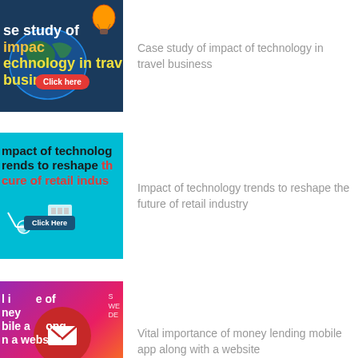[Figure (illustration): Thumbnail image with dark blue and green background showing travel-themed graphic with text 'Case study of impact of technology in travel business' and a red 'Click here' button]
Case study of impact of technology in travel business
[Figure (illustration): Thumbnail with cyan/teal background showing retail technology graphic with text 'Impact of technology trends to reshape the future of retail industry' and a dark 'Click Here' button]
Impact of technology trends to reshape the future of retail industry
[Figure (illustration): Thumbnail with purple-pink gradient background showing a large red circle with envelope icon, and text about vital importance of money lending mobile app along with a website]
Vital importance of money lending mobile app along with a website